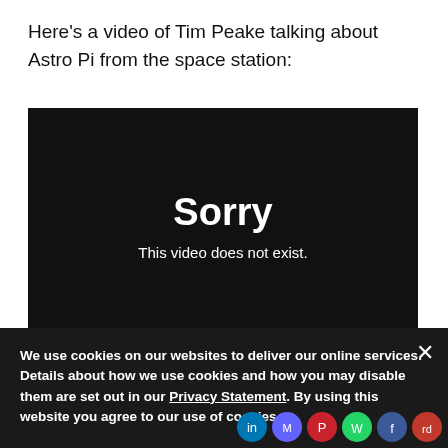Here's a video of Tim Peake talking about Astro Pi from the space station:
[Figure (screenshot): Embedded video player showing a black screen with white text: 'Sorry / This video does not exist.']
We use cookies on our websites to deliver our online services. Details about how we use cookies and how you may disable them are set out in our Privacy Statement. By using this website you agree to our use of cookies.